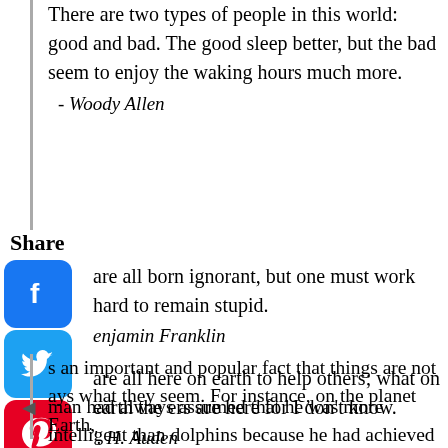There are two types of people in this world: good and bad. The good sleep better, but the bad seem to enjoy the waking hours much more.
- Woody Allen
Share
...are all born ignorant, but one must work hard to remain stupid.
- Benjamin Franklin
...are all here on earth to help others; what on earth the others are here for I don't know.
- W. H. Auden
...s an important and popular fact that things are not always what they seem. For instance, on the planet Earth, man had always assumed that he was more intelligent than dolphins because he had achieved so much — the wheel, New York, wars and so on — whilst all the dolphins had